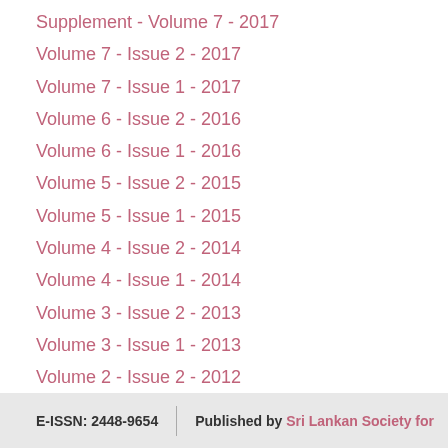Supplement - Volume 7 - 2017
Volume 7 - Issue 2 - 2017
Volume 7 - Issue 1 - 2017
Volume 6 - Issue 2 - 2016
Volume 6 - Issue 1 - 2016
Volume 5 - Issue 2 - 2015
Volume 5 - Issue 1 - 2015
Volume 4 - Issue 2 - 2014
Volume 4 - Issue 1 - 2014
Volume 3 - Issue 2 - 2013
Volume 3 - Issue 1 - 2013
Volume 2 - Issue 2 - 2012
Volume 2 - Issue 1 - 2012
Volume 1 - Issue 1 - 2011
E-ISSN: 2448-9654   Published by Sri Lankan Society for